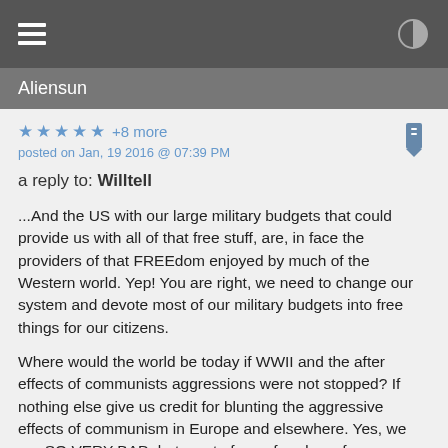Aliensun
★ ★ ★ ★ ★ +8 more
posted on Jan, 19 2016 @ 07:39 PM
a reply to: Willtell
...And the US with our large military budgets that could provide us with all of that free stuff, are, in face the providers of that FREEdom enjoyed by much of the Western world. Yep! You are right, we need to change our system and devote most of our military budgets into free things for our citizens.
Where would the world be today if WWII and the after effects of communists aggressions were not stopped? If nothing else give us credit for blunting the aggressive effects of communism in Europe and elsewhere. Yes, we are SO VERY BAD, but most of your freedoms from Canada, across Europe to even the average Russian citizen today comes from the US dollar that is spend in multiple ways, defense